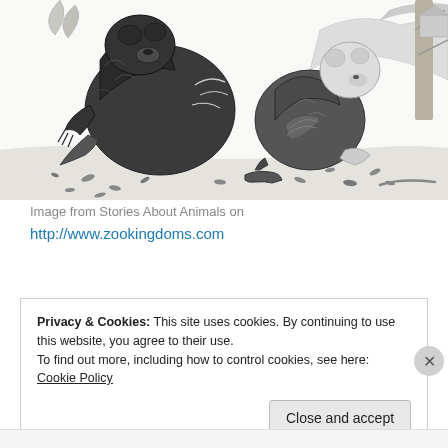[Figure (illustration): Black and white illustration of a bear or large animal fighting with a smaller animal (possibly a dog or raccoon), with seeds or small objects scattered around them, in an outdoor setting with rocks and trees in background.]
Image from Stories About Animals on http://www.zookingdoms.com
Privacy & Cookies: This site uses cookies. By continuing to use this website, you agree to their use.
To find out more, including how to control cookies, see here: Cookie Policy